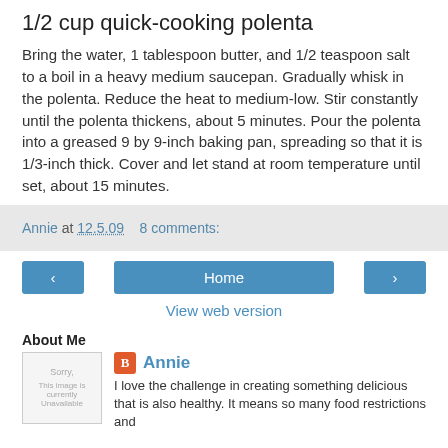1/2 cup quick-cooking polenta
Bring the water, 1 tablespoon butter, and 1/2 teaspoon salt to a boil in a heavy medium saucepan. Gradually whisk in the polenta. Reduce the heat to medium-low. Stir constantly until the polenta thickens, about 5 minutes. Pour the polenta into a greased 9 by 9-inch baking pan, spreading so that it is 1/3-inch thick. Cover and let stand at room temperature until set, about 15 minutes.
Annie at 12.5.09    8 comments:
< Home >
View web version
About Me
Annie
I love the challenge in creating something delicious that is also healthy. It means so many food restrictions and